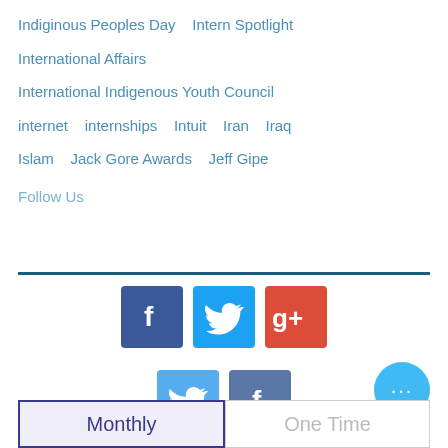Indiginous Peoples Day   Intern Spotlight
International Affairs
International Indigenous Youth Council
internet   internships   Intuit   Iran   Iraq
Islam   Jack Gore Awards   Jeff Gipe
Follow Us
[Figure (infographic): Social media icons: Facebook (dark blue), Twitter (light blue), Google+ (red-orange)]
[Figure (infographic): Social media icons: Twitter (light blue), Facebook (medium blue)]
[Figure (other): Circular blue button with three dots (more options)]
[Figure (other): Two buttons: Monthly (selected, purple border) and One Time (grey)]